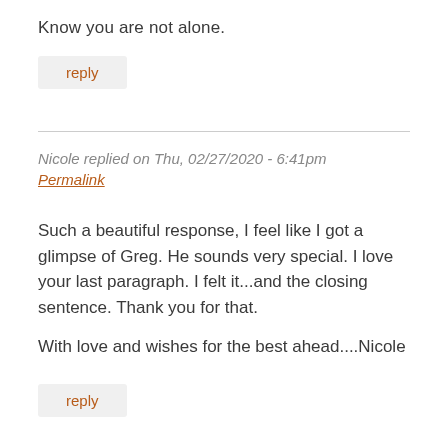Know you are not alone.
reply
Nicole replied on Thu, 02/27/2020 - 6:41pm
Permalink
Such a beautiful response, I feel like I got a glimpse of Greg. He sounds very special. I love your last paragraph. I felt it...and the closing sentence. Thank you for that.

With love and wishes for the best ahead....Nicole
reply